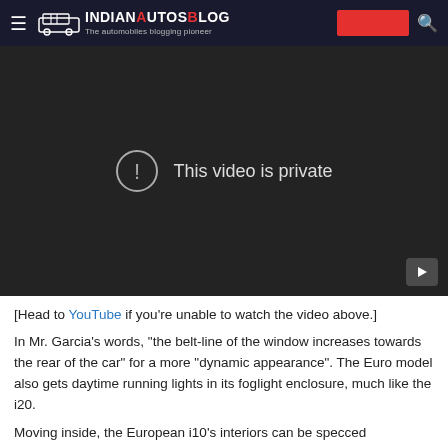IndianAutosBlog – The automobiles blogging pioneer
[Figure (screenshot): Embedded YouTube video player showing 'This video is private' error message on a dark background, with a play button icon in the bottom right corner.]
[Head to YouTube if you're unable to watch the video above.]
In Mr. Garcia's words, "the belt-line of the window increases towards the rear of the car" for a more "dynamic appearance". The Euro model also gets daytime running lights in its foglight enclosure, much like the i20.
Moving inside, the European i10's interiors can be specced from four different colour options. Now, the Euro i10 h...